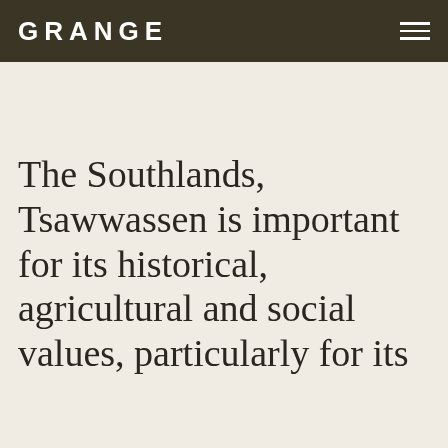GRANGE
The Southlands, Tsawwassen is important for its historical, agricultural and social values, particularly for its